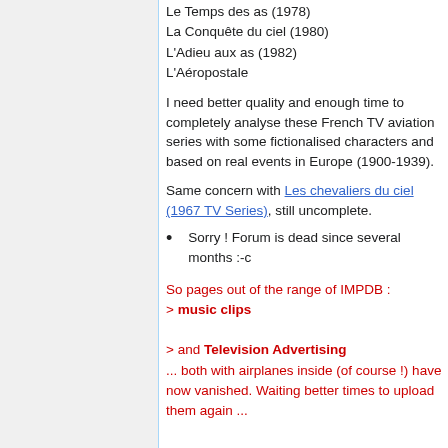Le Temps des as (1978)
La Conquête du ciel (1980)
L'Adieu aux as (1982)
L'Aéropostale
I need better quality and enough time to completely analyse these French TV aviation series with some fictionalised characters and based on real events in Europe (1900-1939).
Same concern with Les chevaliers du ciel (1967 TV Series), still uncomplete.
Sorry ! Forum is dead since several months :-c
So pages out of the range of IMPDB :
> music clips
> and Television Advertising
... both with airplanes inside (of course !) have now vanished. Waiting better times to upload them again ...